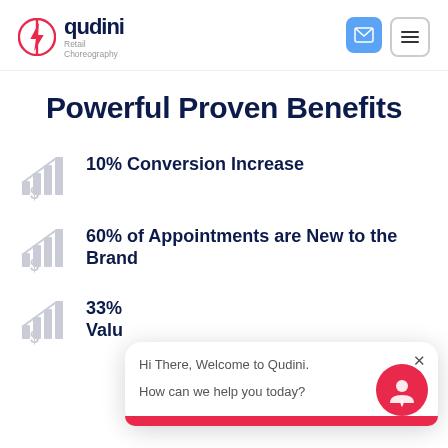[Figure (logo): Qudini Retail Choreography logo with lightning bolt icon in red/pink, company name in dark navy, tagline 'Retail Choreography' in gray]
Powerful Proven Benefits
10% Conversion Increase
60% of Appointments are New to the Brand
33% ... Value...
[Figure (screenshot): Chat popup widget saying 'Hi There, Welcome to Qudini. How can we help you today?' with red Qudini chat avatar icon]